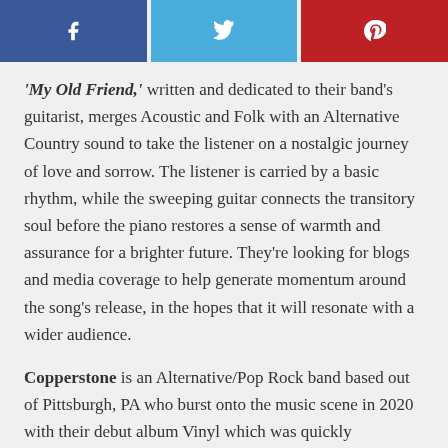[Figure (infographic): Three social media sharing buttons: Facebook (blue), Twitter (light blue), Pinterest (red), each with their respective icons]
'My Old Friend,' written and dedicated to their band's guitarist, merges Acoustic and Folk with an Alternative Country sound to take the listener on a nostalgic journey of love and sorrow. The listener is carried by a basic rhythm, while the sweeping guitar connects the transitory soul before the piano restores a sense of warmth and assurance for a brighter future. They're looking for blogs and media coverage to help generate momentum around the song's release, in the hopes that it will resonate with a wider audience.
Copperstone is an Alternative/Pop Rock band based out of Pittsburgh, PA who burst onto the music scene in 2020 with their debut album Vinyl which was quickly nominated for the International Singer-Songwriter Album of the Year Award. The EP features track such as Bye Bye